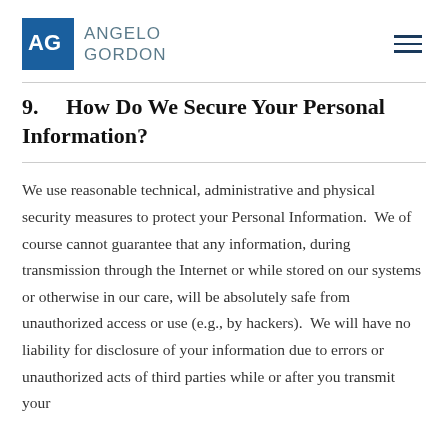ANGELO GORDON
9.    How Do We Secure Your Personal Information?
We use reasonable technical, administrative and physical security measures to protect your Personal Information.  We of course cannot guarantee that any information, during transmission through the Internet or while stored on our systems or otherwise in our care, will be absolutely safe from unauthorized access or use (e.g., by hackers).  We will have no liability for disclosure of your information due to errors or unauthorized acts of third parties while or after you transmit your